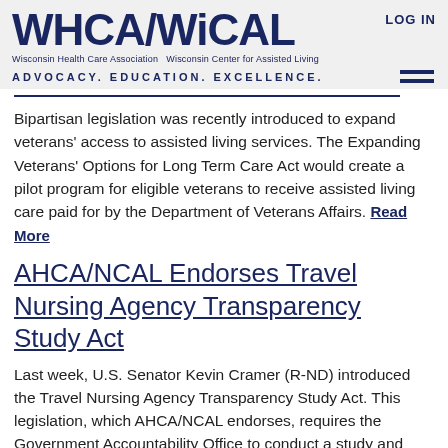WHCA/WiCAL | Wisconsin Health Care Association  Wisconsin Center for Assisted Living | LOG IN | ADVOCACY. EDUCATION. EXCELLENCE.
Bipartisan legislation was recently introduced to expand veterans' access to assisted living services. The Expanding Veterans' Options for Long Term Care Act would create a pilot program for eligible veterans to receive assisted living care paid for by the Department of Veterans Affairs. Read More
AHCA/NCAL Endorses Travel Nursing Agency Transparency Study Act
Last week, U.S. Senator Kevin Cramer (R-ND) introduced the Travel Nursing Agency Transparency Study Act. This legislation, which AHCA/NCAL endorses, requires the Government Accountability Office to conduct a study and report to Congress on the business practices and the effects